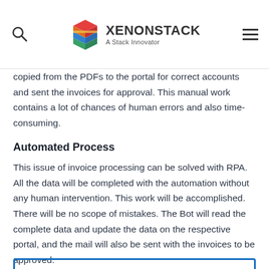XENONSTACK — A Stack Innovator
copied from the PDFs to the portal for correct accounts and sent the invoices for approval. This manual work contains a lot of chances of human errors and also time-consuming.
Automated Process
This issue of invoice processing can be solved with RPA. All the data will be completed with the automation without any human intervention. This work will be accomplished. There will be no scope of mistakes. The Bot will read the complete data and update the data on the respective portal, and the mail will also be sent with the invoices to be approved.